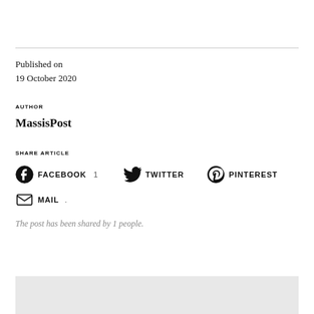Published on
19 October 2020
AUTHOR
MassisPost
SHARE ARTICLE
FACEBOOK 1   TWITTER   PINTEREST
MAIL .
The post has been shared by 1 people.
[Figure (other): Light gray box at the bottom of the page]